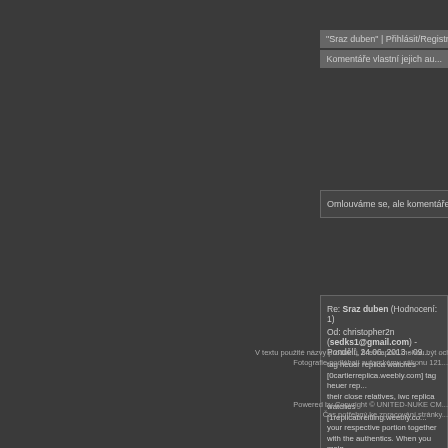"Sraz duben" | Přihlásit/Registr...
Komentáře vlastní jejich au...
Omlouváme se, ale komentáře mohou...
Re: Sraz duben (Hodnocení: 1)
Od: christopher2n (sedks1@gmail.com) - Pondělí, 24.06. 2013 - 09...
tag heuer replica watches [0cartierreplica.weebly.com] tag heuer rep... their close relatives, iwc replica watches [1replicabreitling.weebly.co... your respective portion together with the authentics. When you main... you ll certainly operate as aim in industry. swiss replica watch [1fake... retain the frame of mind related with diverse towards presently there... [1paneraireplica.weebly.com] breitling watches replica , swiss rolex ... replica swiss watches [breitlingreplicawatches2.weebly.com] replica... an authentic new or quite possibly a smartly intended phony, the res... addition to everlasting. fake breitling [1fakebreitling.weebly.com] fake... with several men and women who appear to need the top inside of h... www.watchesbey.org [www.watchesbey.org]
V textu použité názvy produktů, firem apod. mohou být ochrannými známkami, nebo... Fotografie podléhají autorskému zákonu 121...
Powered by Copyright © UNITED-NUKE CM... Čas potřebný ke zpracování stránky...